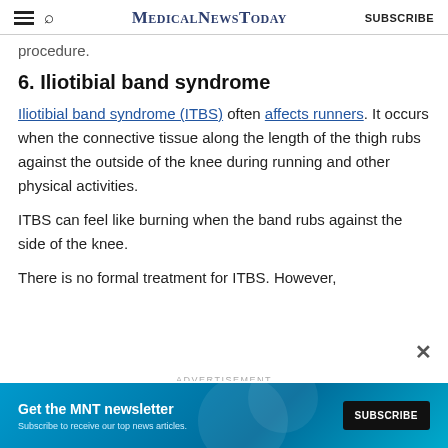MedicalNewsToday SUBSCRIBE
procedure.
6. Iliotibial band syndrome
Iliotibial band syndrome (ITBS) often affects runners. It occurs when the connective tissue along the length of the thigh rubs against the outside of the knee during running and other physical activities.
ITBS can feel like burning when the band rubs against the side of the knee.
There is no formal treatment for ITBS. However,
ADVERTISEMENT
[Figure (infographic): Advertisement banner: Get the MNT newsletter. Subscribe to receive our top news articles. SUBSCRIBE button.]